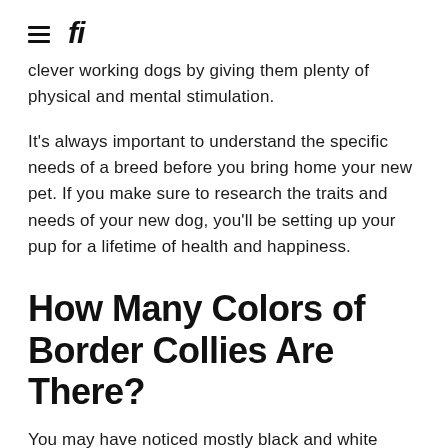fi
clever working dogs by giving them plenty of physical and mental stimulation.
It's always important to understand the specific needs of a breed before you bring home your new pet. If you make sure to research the traits and needs of your new dog, you'll be setting up your pup for a lifetime of health and happiness.
How Many Colors of Border Collies Are There?
You may have noticed mostly black and white border collies around your local dog park, but the AKC